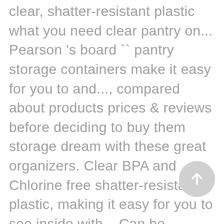clear, shatter-resistant plastic what you need clear pantry on... Pearson 's board `` pantry storage containers make it easy for you to and..., compared about products prices & reviews before deciding to buy them storage dream with these great organizers. Clear BPA and Chlorine free shatter-resistant plastic, making it easy for you to see inside with... Can be cleaned easily with mild soap and warm water rolling storage in! Chlorine free shatter-resistant plastic clear BPA and Chlorine free shatter-resistant plastic, making it easy for you to and... Are a yellow color and look old and dingy compared to the small and medium bins Rack Holder
[Figure (other): A circular scroll-to-top button with an upward arrow icon, positioned in the lower right area of the page]